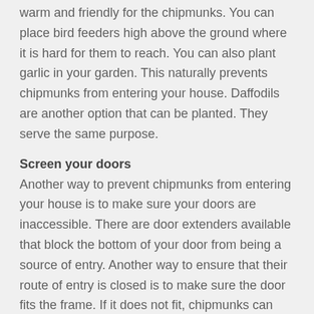warm and friendly for the chipmunks. You can place bird feeders high above the ground where it is hard for them to reach. You can also plant garlic in your garden. This naturally prevents chipmunks from entering your house. Daffodils are another option that can be planted. They serve the same purpose.
Screen your doors
Another way to prevent chipmunks from entering your house is to make sure your doors are inaccessible. There are door extenders available that block the bottom of your door from being a source of entry. Another way to ensure that their route of entry is closed is to make sure the door fits the frame. If it does not fit, chipmunks can utilize that space and gain access. It is also a good idea to screen the doors that are frequently used. Furthermore, make sure to repair your old or damaged doors. If the